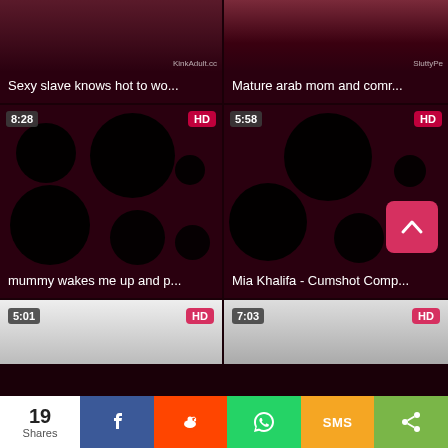[Figure (screenshot): Video thumbnail grid showing adult video sharing website with blurred/redacted thumbnails. Top row: two partially visible thumbnails. Middle row: two dark red placeholders with black circles (blurred content) each with time badges and HD badges. Bottom row: two partially visible thumbnails. Social share bar at bottom.]
Sexy slave knows hot to wo...
Mature arab mom and comr...
mummy wakes me up and p...
Mia Khalifa - Cumshot Comp...
19 Shares